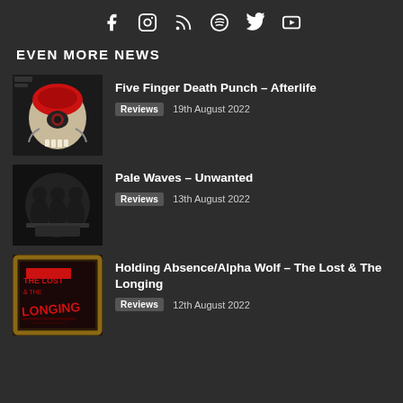[Social icons: Facebook, Instagram, RSS, Spotify, Twitter, YouTube]
EVEN MORE NEWS
[Figure (photo): Five Finger Death Punch Afterlife album cover – skull with red headgear]
Five Finger Death Punch – Afterlife
Reviews   19th August 2022
[Figure (photo): Pale Waves Unwanted album cover – black and white band photo]
Pale Waves – Unwanted
Reviews   13th August 2022
[Figure (photo): Holding Absence/Alpha Wolf The Lost & The Longing album cover – red and black graffiti text in a frame]
Holding Absence/Alpha Wolf – The Lost & The Longing
Reviews   12th August 2022